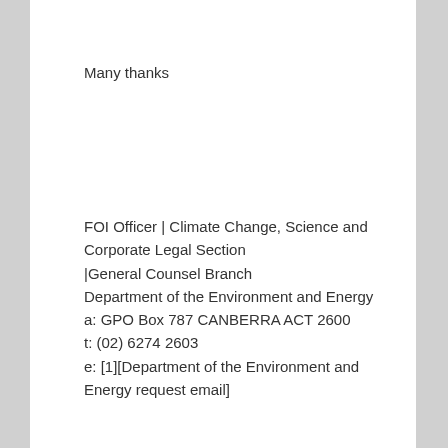Many thanks
FOI Officer | Climate Change, Science and Corporate Legal Section
|General Counsel Branch
Department of the Environment and Energy
a: GPO Box 787 CANBERRA ACT 2600
t: (02) 6274 2603
e: [1][Department of the Environment and Energy request email]